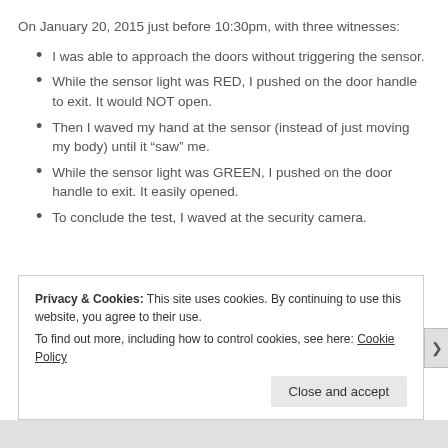On January 20, 2015 just before 10:30pm, with three witnesses:
I was able to approach the doors without triggering the sensor.
While the sensor light was RED, I pushed on the door handle to exit. It would NOT open.
Then I waved my hand at the sensor (instead of just moving my body) until it “saw” me.
While the sensor light was GREEN, I pushed on the door handle to exit. It easily opened.
To conclude the test, I waved at the security camera.
Privacy & Cookies: This site uses cookies. By continuing to use this website, you agree to their use.
To find out more, including how to control cookies, see here: Cookie Policy